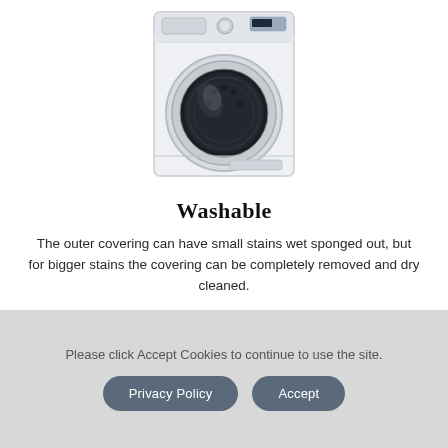[Figure (illustration): A white front-loading washing machine with a circular door and control panel at the top right, on a white background.]
Washable
The outer covering can have small stains wet sponged out, but for bigger stains the covering can be completely removed and dry cleaned.
Please click Accept Cookies to continue to use the site.
Privacy Policy
Accept